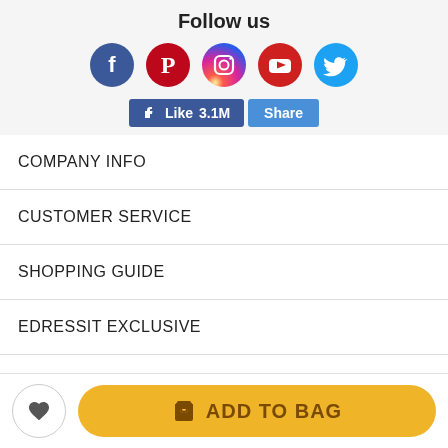Follow us
[Figure (illustration): Row of 5 social media icons: Facebook (dark blue circle), Pinterest (red circle), Instagram (gradient circle), YouTube (red circle), Twitter (cyan circle)]
[Figure (illustration): Facebook Like button showing thumbs up icon and '3.1M' count, next to a Share button, both in Facebook blue]
COMPANY INFO
CUSTOMER SERVICE
SHOPPING GUIDE
EDRESSIT EXCLUSIVE
NEWSLETTER
[Figure (illustration): Bottom bar with heart/wishlist circle button and an amber 'ADD TO BAG' pill button with shopping bag icon]